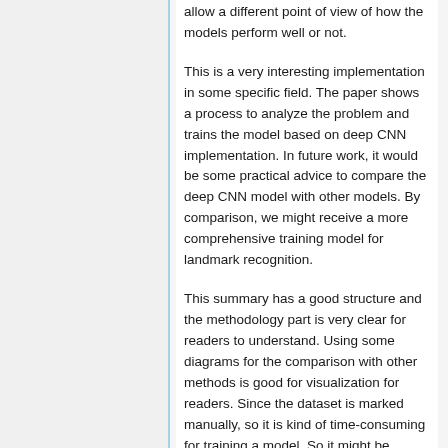allow a different point of view of how the models perform well or not.
This is a very interesting implementation in some specific field. The paper shows a process to analyze the problem and trains the model based on deep CNN implementation. In future work, it would be some practical advice to compare the deep CNN model with other models. By comparison, we might receive a more comprehensive training model for landmark recognition.
This summary has a good structure and the methodology part is very clear for readers to understand. Using some diagrams for the comparison with other methods is good for visualization for readers. Since the dataset is marked manually, so it is kind of time-consuming for training a model. So it might be